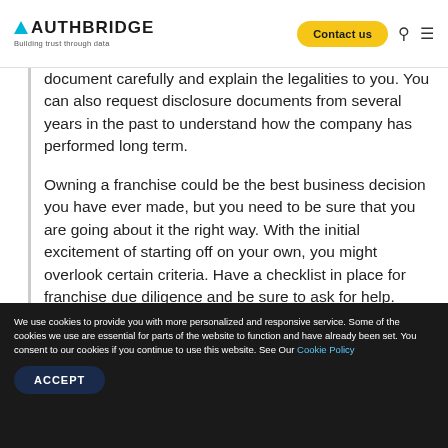AUTHBRIDGE — Building trust through data | Contact us
document carefully and explain the legalities to you. You can also request disclosure documents from several years in the past to understand how the company has performed long term.
Owning a franchise could be the best business decision you have ever made, but you need to be sure that you are going about it the right way. With the initial excitement of starting off on your own, you might overlook certain criteria. Have a checklist in place for franchise due diligence and be sure to ask for help. Involve a lawyer, accountant and someone who can guide you in making business decisions, to ensure you are
We use cookies to provide you with more personalized and responsive service. Some of the cookies we use are essential for parts of the website to function and have already been set. You consent to our cookies if you continue to use this website. See Our Cookie Policy
ACCEPT